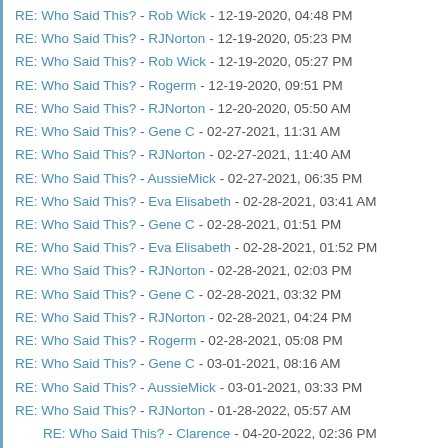RE: Who Said This? - Rob Wick - 12-19-2020, 04:48 PM
RE: Who Said This? - RJNorton - 12-19-2020, 05:23 PM
RE: Who Said This? - Rob Wick - 12-19-2020, 05:27 PM
RE: Who Said This? - Rogerm - 12-19-2020, 09:51 PM
RE: Who Said This? - RJNorton - 12-20-2020, 05:50 AM
RE: Who Said This? - Gene C - 02-27-2021, 11:31 AM
RE: Who Said This? - RJNorton - 02-27-2021, 11:40 AM
RE: Who Said This? - AussieMick - 02-27-2021, 06:35 PM
RE: Who Said This? - Eva Elisabeth - 02-28-2021, 03:41 AM
RE: Who Said This? - Gene C - 02-28-2021, 01:51 PM
RE: Who Said This? - Eva Elisabeth - 02-28-2021, 01:52 PM
RE: Who Said This? - RJNorton - 02-28-2021, 02:03 PM
RE: Who Said This? - Gene C - 02-28-2021, 03:32 PM
RE: Who Said This? - RJNorton - 02-28-2021, 04:24 PM
RE: Who Said This? - Rogerm - 02-28-2021, 05:08 PM
RE: Who Said This? - Gene C - 03-01-2021, 08:16 AM
RE: Who Said This? - AussieMick - 03-01-2021, 03:33 PM
RE: Who Said This? - RJNorton - 01-28-2022, 05:57 AM
RE: Who Said This? - Clarence - 04-20-2022, 02:36 PM
RE: Who Said This? - Rob Wick - 01-28-2022, 07:56 AM
RE: Who Said This? - Gene C - 01-28-2022, 10:20 AM
RE: Who Said This? - RJNorton - 01-28-2022, 10:33 AM
RE: Who Said This? - David Lockmiller - 01-28-2022, 11:07 AM
RE: Who Said This? - RJNorton - 01-28-2022, 11:38 AM
RE: Who Said This? - Susan Higginbotham - 01-28-2022, 02:07 PM